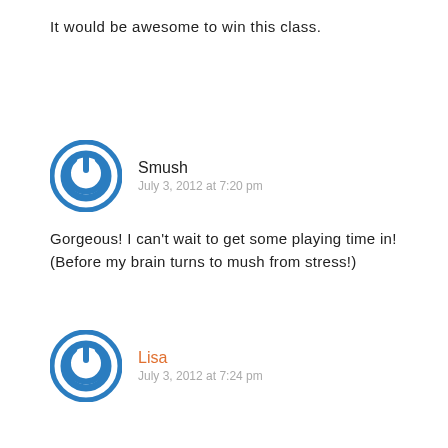It would be awesome to win this class.
Smush
July 3, 2012 at 7:20 pm
Gorgeous! I can't wait to get some playing time in! (Before my brain turns to mush from stress!)
Lisa
July 3, 2012 at 7:24 pm